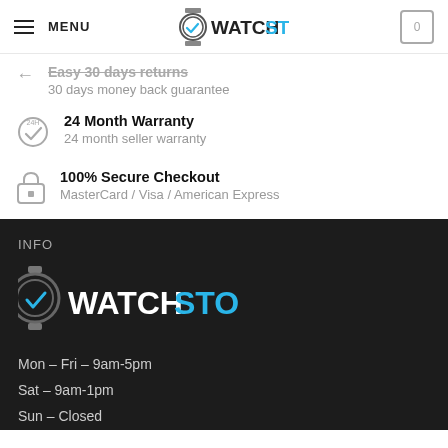MENU | WATCH STORE | 0
Easy 30 days returns — 30 days money back guarantee
24 Month Warranty — 24 month seller warranty
100% Secure Checkout — MasterCard / Visa / American Express
INFO
[Figure (logo): WatchStore logo with watch icon and checkmark, white and blue on dark background]
Mon – Fri – 9am-5pm
Sat – 9am-1pm
Sun – Closed